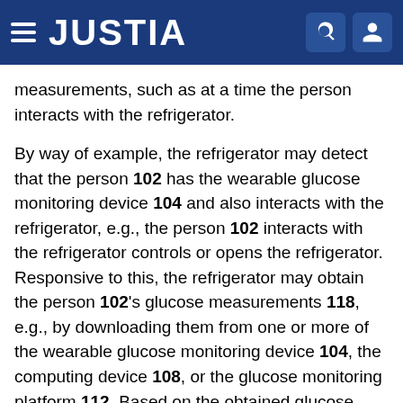JUSTIA
measurements, such as at a time the person interacts with the refrigerator.
By way of example, the refrigerator may detect that the person 102 has the wearable glucose monitoring device 104 and also interacts with the refrigerator, e.g., the person 102 interacts with the refrigerator controls or opens the refrigerator. Responsive to this, the refrigerator may obtain the person 102's glucose measurements 118, e.g., by downloading them from one or more of the wearable glucose monitoring device 104, the computing device 108, or the glucose monitoring platform 112. Based on the obtained glucose measurements, the refrigerator may then determine which of the foods it is maintaining (or recipes involving those foods) that, if consumed by the person 102, are predicted to achieve a desired glucose goal, such as to